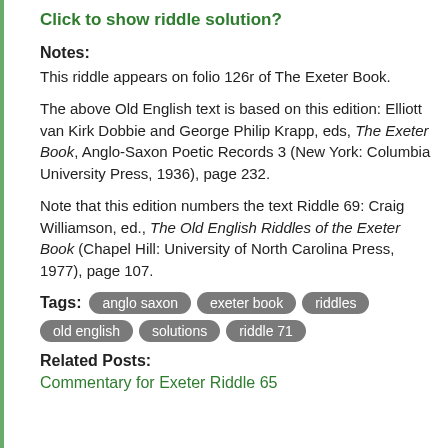Click to show riddle solution?
Notes:
This riddle appears on folio 126r of The Exeter Book.
The above Old English text is based on this edition: Elliott van Kirk Dobbie and George Philip Krapp, eds, The Exeter Book, Anglo-Saxon Poetic Records 3 (New York: Columbia University Press, 1936), page 232.
Note that this edition numbers the text Riddle 69: Craig Williamson, ed., The Old English Riddles of the Exeter Book (Chapel Hill: University of North Carolina Press, 1977), page 107.
Tags: anglo saxon   exeter book   riddles   old english   solutions   riddle 71
Related Posts:
Commentary for Exeter Riddle 65